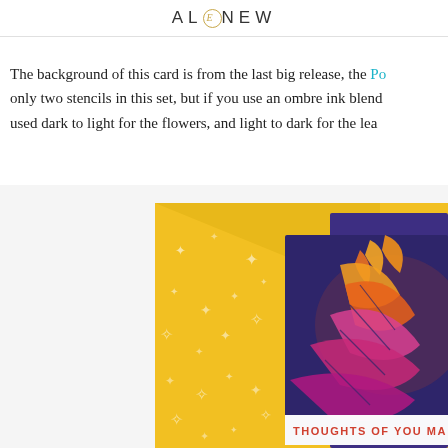ALIC-NEW (Altenew logo)
The background of this card is from the last big release, the Po... only two stencils in this set, but if you use an ombre ink blend... used dark to light for the flowers, and light to dark for the lea...
[Figure (photo): Photo of a handmade greeting card with colorful ombre leaf and feather die-cuts in pink, orange, and yellow on a purple/navy background, with a yellow star-patterned envelope behind it. Partial text visible at the bottom reads 'THOUGHTS OF YOU MA']